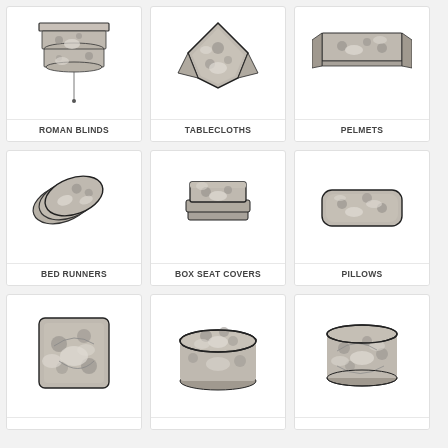[Figure (illustration): Roman blind product illustration in grey floral fabric]
ROMAN BLINDS
[Figure (illustration): Tablecloth product illustration in grey floral fabric]
TABLECLOTHS
[Figure (illustration): Pelmet product illustration in grey floral fabric]
PELMETS
[Figure (illustration): Bed runner product illustration in grey floral fabric]
BED RUNNERS
[Figure (illustration): Box seat cover product illustration in grey floral fabric]
BOX SEAT COVERS
[Figure (illustration): Pillow product illustration in grey floral fabric]
PILLOWS
[Figure (illustration): Square cushion product illustration in grey floral fabric]
[Figure (illustration): Round ottoman product illustration in grey floral fabric]
[Figure (illustration): Drum shade product illustration in grey floral fabric]